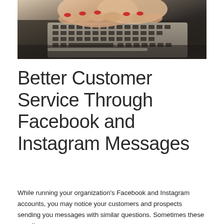[Figure (photo): Close-up photo of a woman's hands with red nail polish typing on a laptop keyboard]
Better Customer Service Through Facebook and Instagram Messages
While running your organization's Facebook and Instagram accounts, you may notice your customers and prospects sending you messages with similar questions. Sometimes these questions